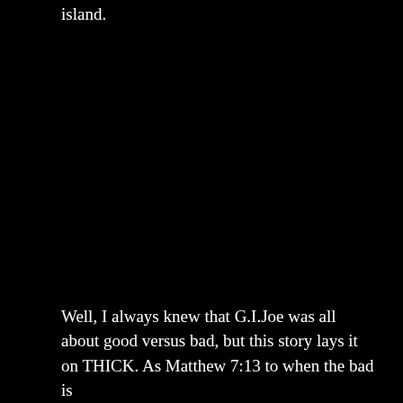island.
Well, I always knew that G.I.Joe was all about good versus bad, but this story lays it on THICK. As Matthew 7:13 to when the bad is